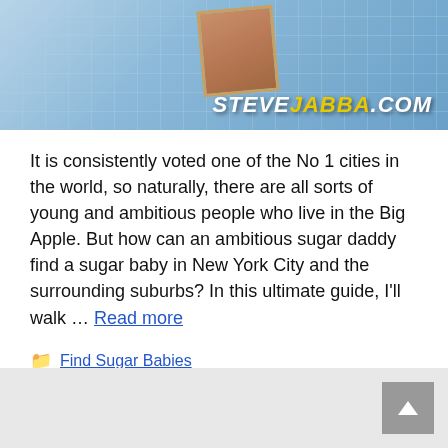[Figure (illustration): Website banner for stevejabba.com showing a map background with a photo and the text STEVEJABBA.COM in white and yellow italic bold letters]
It is consistently voted one of the No 1 cities in the world, so naturally, there are all sorts of young and ambitious people who live in the Big Apple. But how can an ambitious sugar daddy find a sugar baby in New York City and the surrounding suburbs? In this ultimate guide, I'll walk … Read more
Find Sugar Babies
[Figure (other): Light grey footer bar with a grey scroll-to-top button in the bottom right corner showing an upward arrow]